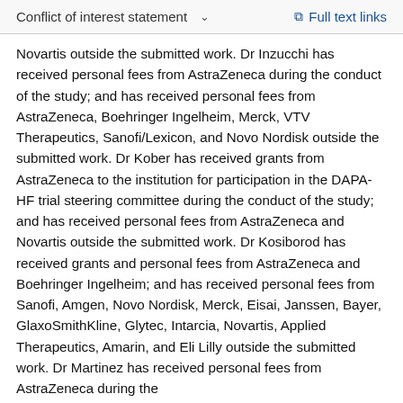Conflict of interest statement   Full text links
Novartis outside the submitted work. Dr Inzucchi has received personal fees from AstraZeneca during the conduct of the study; and has received personal fees from AstraZeneca, Boehringer Ingelheim, Merck, VTV Therapeutics, Sanofi/Lexicon, and Novo Nordisk outside the submitted work. Dr Kober has received grants from AstraZeneca to the institution for participation in the DAPA-HF trial steering committee during the conduct of the study; and has received personal fees from AstraZeneca and Novartis outside the submitted work. Dr Kosiborod has received grants and personal fees from AstraZeneca and Boehringer Ingelheim; and has received personal fees from Sanofi, Amgen, Novo Nordisk, Merck, Eisai, Janssen, Bayer, GlaxoSmithKline, Glytec, Intarcia, Novartis, Applied Therapeutics, Amarin, and Eli Lilly outside the submitted work. Dr Martinez has received personal fees from AstraZeneca during the